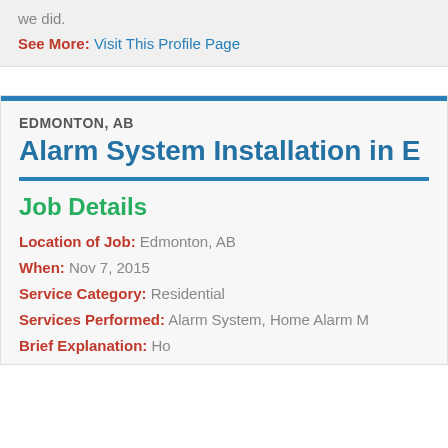we did.
See More: Visit This Profile Page
EDMONTON, AB
Alarm System Installation in E
Job Details
Location of Job: Edmonton, AB
When: Nov 7, 2015
Service Category: Residential
Services Performed: Alarm System, Home Alarm M
Brief Explanation: